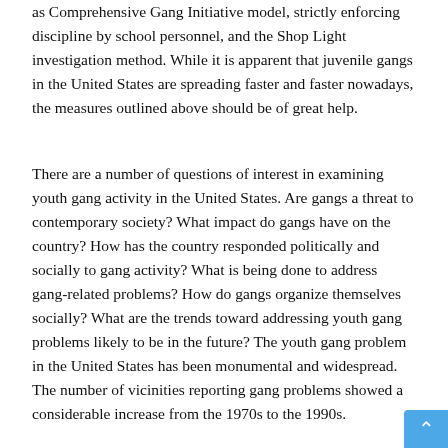as Comprehensive Gang Initiative model, strictly enforcing discipline by school personnel, and the Shop Light investigation method. While it is apparent that juvenile gangs in the United States are spreading faster and faster nowadays, the measures outlined above should be of great help.
There are a number of questions of interest in examining youth gang activity in the United States. Are gangs a threat to contemporary society? What impact do gangs have on the country? How has the country responded politically and socially to gang activity? What is being done to address gang-related problems? How do gangs organize themselves socially? What are the trends toward addressing youth gang problems likely to be in the future? The youth gang problem in the United States has been monumental and widespread. The number of vicinities reporting gang problems showed a considerable increase from the 1970s to the 1990s.
[Figure (screenshot): Chat widget bar with green dot and 'Click here to chat with us' text on dark navy background, and a partial screenshot of a device/laptop below]